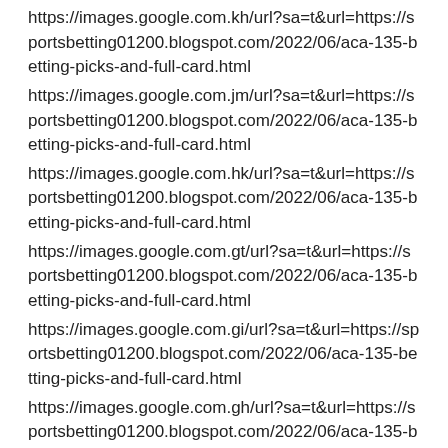https://images.google.com.kh/url?sa=t&url=https://sportsbetting01200.blogspot.com/2022/06/aca-135-betting-picks-and-full-card.html
https://images.google.com.jm/url?sa=t&url=https://sportsbetting01200.blogspot.com/2022/06/aca-135-betting-picks-and-full-card.html
https://images.google.com.hk/url?sa=t&url=https://sportsbetting01200.blogspot.com/2022/06/aca-135-betting-picks-and-full-card.html
https://images.google.com.gt/url?sa=t&url=https://sportsbetting01200.blogspot.com/2022/06/aca-135-betting-picks-and-full-card.html
https://images.google.com.gi/url?sa=t&url=https://sportsbetting01200.blogspot.com/2022/06/aca-135-betting-picks-and-full-card.html
https://images.google.com.gh/url?sa=t&url=https://sportsbetting01200.blogspot.com/2022/06/aca-135-betting-picks-and-full-card.html